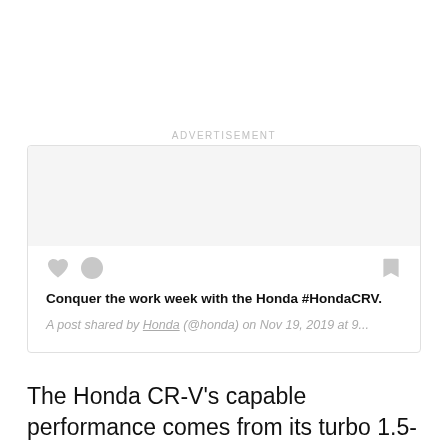ADVERTISEMENT
[Figure (screenshot): An embedded social media (Instagram) post card from Honda showing a blank image area, heart and comment icons on the left, bookmark icon on the right, bold text 'Conquer the work week with the Honda #HondaCRV.' and italic attribution 'A post shared by Honda (@honda) on Nov 19, 2019 at 9...']
The Honda CR-V's capable performance comes from its turbo 1.5-liter engine capable of 190